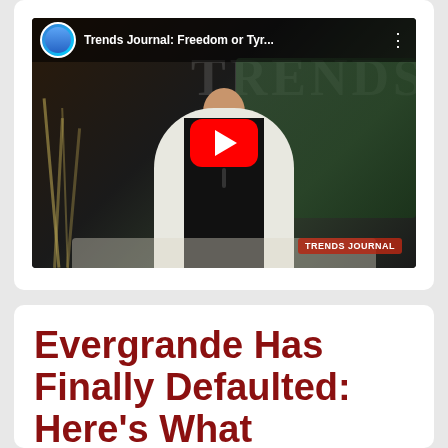[Figure (screenshot): YouTube video thumbnail showing a man in a white jacket sitting at a desk with papers, with the YouTube play button overlay. Video title reads 'Trends Journal: Freedom or Tyr...' with channel avatar in top left corner.]
Evergrande Has Finally Defaulted: Here's What